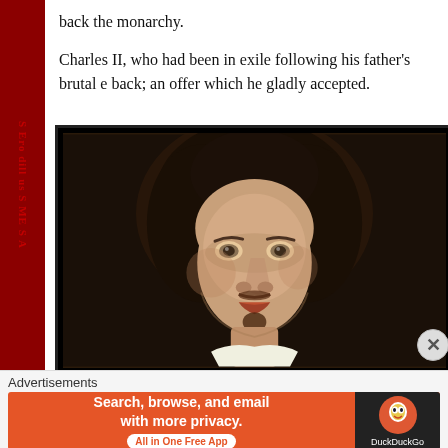back the monarchy.
Charles II, who had been in exile following his father's brutal e back; an offer which he gladly accepted.
[Figure (photo): Portrait painting of Charles II, showing a young man with long dark curly hair, a thin mustache, and a small beard, painted in classical 17th-century style against a dark background.]
Advertisements
[Figure (other): DuckDuckGo advertisement banner: 'Search, browse, and email with more privacy. All in One Free App' with DuckDuckGo logo on dark right panel.]